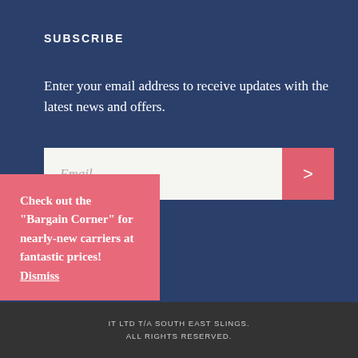SUBSCRIBE
Enter your email address to receive updates with the latest news and offers.
[Figure (screenshot): Email subscription form with a white input box showing placeholder text 'Email' and a pink submit button with a '>' arrow icon]
Check out the "Bargain Corner" for nearly-new carriers at fantastic prices! Dismiss
IT LTD T/A SOUTH EAST SLINGS. ALL RIGHTS RESERVED.